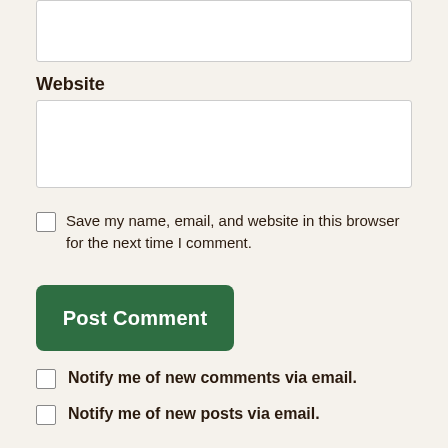[Figure (screenshot): Top partial input box (text area, top portion visible)]
Website
[Figure (screenshot): Website input text box]
Save my name, email, and website in this browser for the next time I comment.
[Figure (screenshot): Post Comment button (dark green rounded rectangle)]
Notify me of new comments via email.
Notify me of new posts via email.
Canberra Seed Savers Cooperative, A WordPress.com Website.